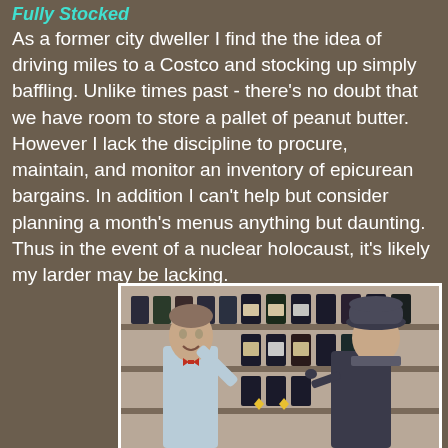Fully Stocked
As a former city dweller I find the the idea of driving miles to a Costco and stocking up simply baffling. Unlike times past - there's no doubt that we have room to store a pallet of peanut butter. However I lack the discipline to procure, maintain, and monitor an inventory of epicurean bargains. In addition I can't help but consider planning a month's menus anything but daunting. Thus in the event of a nuclear holocaust, it's likely my larder may be lacking.
[Figure (photo): Vintage retro photo of two men in a liquor store. One man in a light blue jacket gestures at bottles on the shelves while another man in a dark suit and bowler hat listens. Shelves of dark liquor bottles visible in background.]